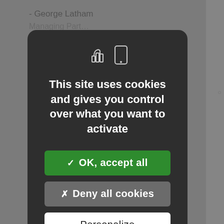- George Latham
[Figure (screenshot): Cookie consent modal dialog on a dark rounded rectangle overlay. Contains two icons (cookie/chart and mobile phone), main message text, and three buttons: OK accept all (green), Deny all cookies (gray), Personalize (white).]
This site uses cookies and gives you control over what you want to activate
✓ OK, accept all
✗ Deny all cookies
Personalize
- Dominique Carrel-Billiard
Head of Real and Alternative Assets